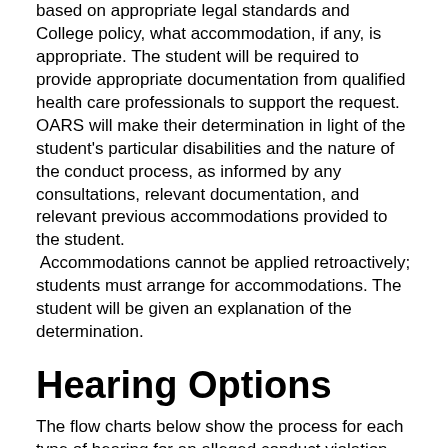based on appropriate legal standards and College policy, what accommodation, if any, is appropriate. The student will be required to provide appropriate documentation from qualified health care professionals to support the request. OARS will make their determination in light of the student's particular disabilities and the nature of the conduct process, as informed by any consultations, relevant documentation, and relevant previous accommodations provided to the student. Accommodations cannot be applied retroactively; students must arrange for accommodations. The student will be given an explanation of the determination.
Hearing Options
The flow charts below show the process for each type of hearing for an alleged conduct violation. In circumstances when an information report [3] is submitted and there is reasonable cause to modify the process, including but not limited to prior to commencement when a student is a candidate for graduation, the dean of students office and office of student rights and responsibilities will use their discretion to determine the appropriate process for resolution while maintaining the rights [12] afforded to all